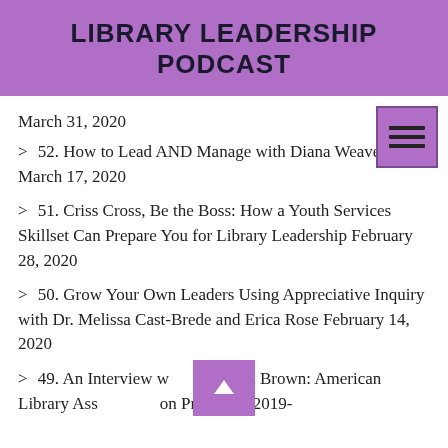LIBRARY LEADERSHIP PODCAST
March 31, 2020
52. How to Lead AND Manage with Diana Weaver March 17, 2020
51. Criss Cross, Be the Boss: How a Youth Services Skillset Can Prepare You for Library Leadership February 28, 2020
50. Grow Your Own Leaders Using Appreciative Inquiry with Dr. Melissa Cast-Brede and Erica Rose February 14, 2020
49. An Interview with Linda Brown: American Library Association President, 2019-